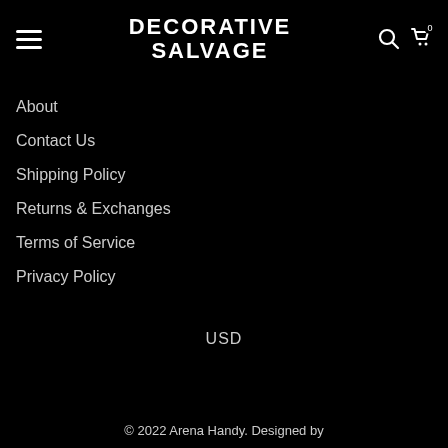DECORATIVE SALVAGE
About
Contact Us
Shipping Policy
Returns & Exchanges
Terms of Service
Privacy Policy
USD
© 2022 Arena Handy. Designed by